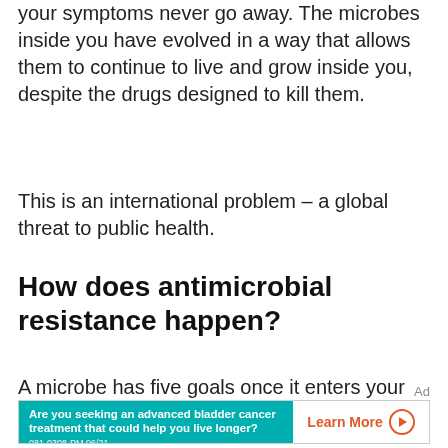your symptoms never go away. The microbes inside you have evolved in a way that allows them to continue to live and grow inside you, despite the drugs designed to kill them.
This is an international problem – a global threat to public health.
How does antimicrobial resistance happen?
A microbe has five goals once it enters your
[Figure (other): Advertisement banner for advanced bladder cancer treatment with teal background on the left reading 'Are you seeking an advanced bladder cancer treatment that could help you live longer? 081-0308-PM 06/21' and white section on the right with an orange 'Learn More' button with play icon.]